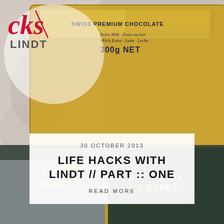[Figure (photo): Photo of Lindt chocolate bars — a gold foil Swiss Premium Chocolate 300g NET bar on top, and a Lindt Excellence dark chocolate bar below, arranged on a table with floral background.]
[Figure (logo): Blog logo with cursive 'cks' in red script and 'LINDT' in bold gray sans-serif text, overlaid on a light circular background in the top-left corner of the image.]
30 OCTOBER 2013
LIFE HACKS WITH LINDT // PART :: ONE
READ MORE